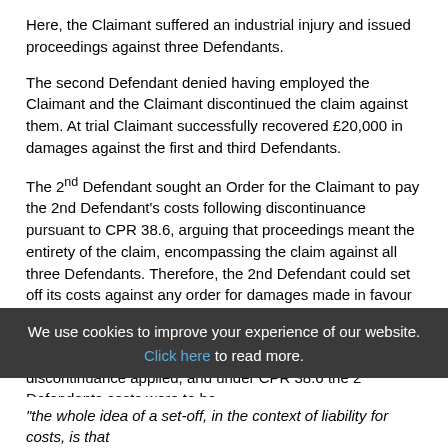Here, the Claimant suffered an industrial injury and issued proceedings against three Defendants.
The second Defendant denied having employed the Claimant and the Claimant discontinued the claim against them. At trial Claimant successfully recovered £20,000 in damages against the first and third Defendants.
The 2nd Defendant sought an Order for the Claimant to pay the 2nd Defendant's costs following discontinuance pursuant to CPR 38.6, arguing that proceedings meant the entirety of the claim, encompassing the claim against all three Defendants. Therefore, the 2nd Defendant could set off its costs against any order for damages made in favour of the Claimant to be paid by the remaining Defendants.
HHJ Freedman found the usual Order in the event of discontinuance applied, and under CPR 38.6 the 2nd Defendants costs were to be
We use cookies to improve your experience of our website. Click here to read more.
"the whole idea of a set-off, in the context of liability for costs, is that